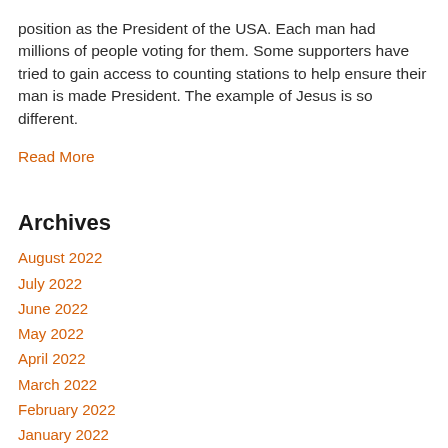position as the President of the USA. Each man had millions of people voting for them. Some supporters have tried to gain access to counting stations to help ensure their man is made President. The example of Jesus is so different.
Read More
Archives
August 2022
July 2022
June 2022
May 2022
April 2022
March 2022
February 2022
January 2022
December 2021
November 2021
October 2021
September 2021